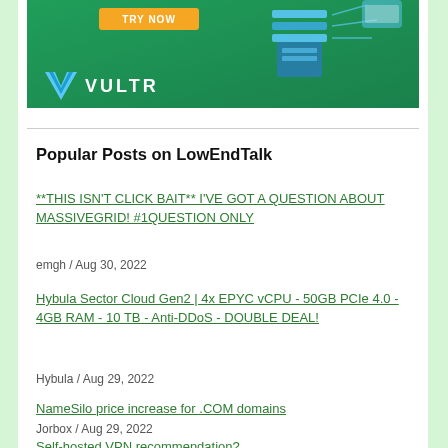[Figure (illustration): Vultr advertisement banner with green background, orange TRY NOW button, Vultr logo with blue V icon and white VULTR text, and isometric server/cloud graphic on the right side.]
Popular Posts on LowEndTalk
**THIS ISN'T CLICK BAIT** I'VE GOT A QUESTION ABOUT MASSIVEGRID! #1QUESTION ONLY
emgh / Aug 30, 2022
Hybula Sector Cloud Gen2 | 4x EPYC vCPU - 50GB PCIe 4.0 - 4GB RAM - 10 TB - Anti-DDoS - DOUBLE DEAL!
Hybula / Aug 29, 2022
NameSilo price increase for .COM domains
Jorbox / Aug 29, 2022
Self-hosted VPN recommendation?